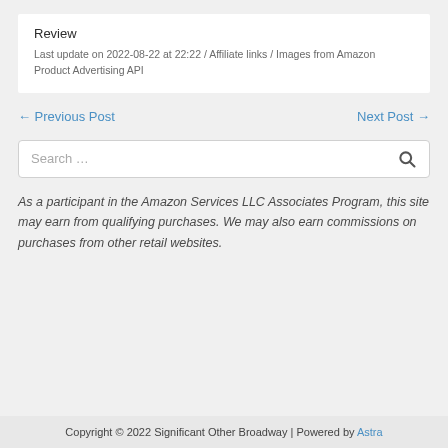Review
Last update on 2022-08-22 at 22:22 / Affiliate links / Images from Amazon Product Advertising API
← Previous Post
Next Post →
Search …
As a participant in the Amazon Services LLC Associates Program, this site may earn from qualifying purchases. We may also earn commissions on purchases from other retail websites.
Copyright © 2022 Significant Other Broadway | Powered by Astra